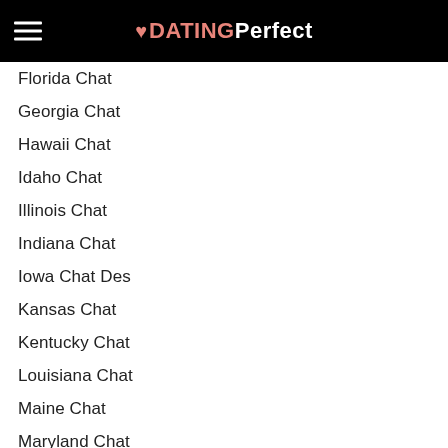DATING Perfect
Florida Chat
Georgia Chat
Hawaii Chat
Idaho Chat
Illinois Chat
Indiana Chat
Iowa Chat Des
Kansas Chat
Kentucky Chat
Louisiana Chat
Maine Chat
Maryland Chat
Massachusetts Chat
Michigan Chat
Minnesota Chat
Mississippi Chat